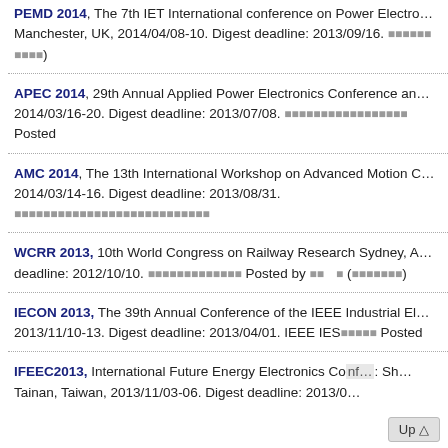PEMD 2014, The 7th IET International conference on Power Electronics, Machines and Drives, Manchester, UK, 2014/04/08-10. Digest deadline: 2013/09/16.
APEC 2014, 29th Annual Applied Power Electronics Conference and Exposition, 2014/03/16-20. Digest deadline: 2013/07/08. Posted
AMC 2014, The 13th International Workshop on Advanced Motion Control, 2014/03/14-16. Digest deadline: 2013/08/31.
WCRR 2013, 10th World Congress on Railway Research Sydney, Australia. Digest deadline: 2012/10/10. Posted by (...)
IECON 2013, The 39th Annual Conference of the IEEE Industrial Electronics Society, 2013/11/10-13. Digest deadline: 2013/04/01. IEEE IES Posted
IFEEC2013, International Future Energy Electronics Conference, Tainan, Taiwan, 2013/11/03-06. Digest deadline: 2013/0...